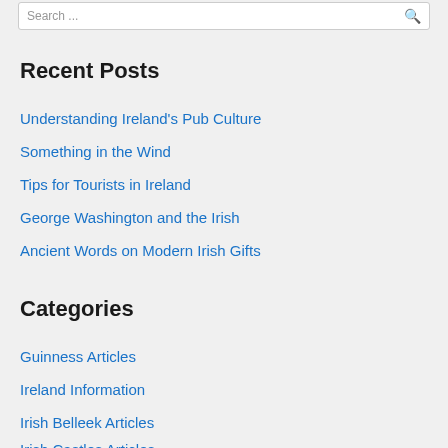Recent Posts
Understanding Ireland's Pub Culture
Something in the Wind
Tips for Tourists in Ireland
George Washington and the Irish
Ancient Words on Modern Irish Gifts
Categories
Guinness Articles
Ireland Information
Irish Belleek Articles
Irish Castles Articles